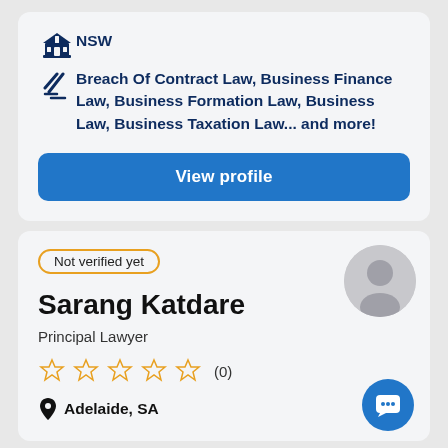NSW
Breach Of Contract Law, Business Finance Law, Business Formation Law, Business Law, Business Taxation Law... and more!
View profile
Not verified yet
Sarang Katdare
Principal Lawyer
(0)
Adelaide, SA